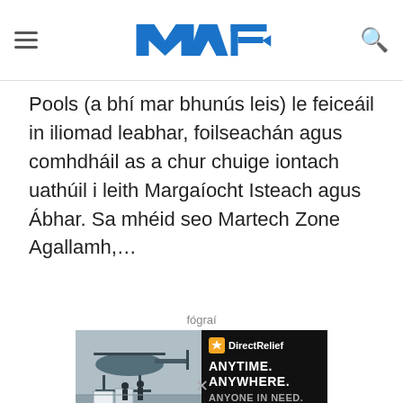MTE (Martech Zone)
Pools (a bhí mar bhunús leis) le feiceáil in iliomad leabhar, foilseachán agus comhdháil as a chur chuige iontach uathúil i leith Margaíocht Isteach agus Ábhar. Sa mhéid seo Martech Zone Agallamh,…
fógraí
[Figure (photo): DirectRelief advertisement banner: left side shows a military helicopter with personnel loading cargo boxes on a tarmac; right side is black with DirectRelief logo and text 'ANYTIME. ANYWHERE. ANYONE IN NEED.']